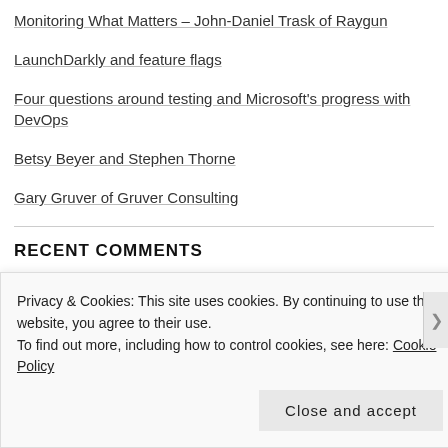Monitoring What Matters – John-Daniel Trask of Raygun
LaunchDarkly and feature flags
Four questions around testing and Microsoft's progress with DevOps
Betsy Beyer and Stephen Thorne
Gary Gruver of Gruver Consulting
RECENT COMMENTS
Achieving DevOps – t… on DevOps – Where to Start
Privacy & Cookies: This site uses cookies. By continuing to use this website, you agree to their use.
To find out more, including how to control cookies, see here: Cookie Policy
Close and accept